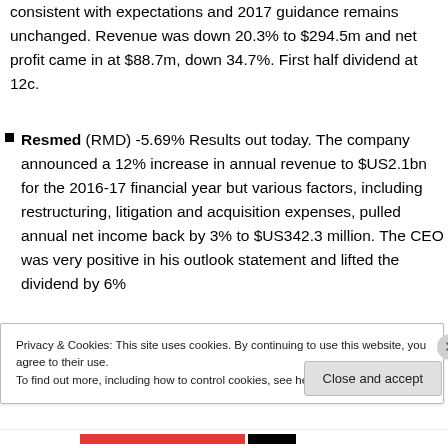consistent with expectations and 2017 guidance remains unchanged. Revenue was down 20.3% to $294.5m and net profit came in at $88.7m, down 34.7%. First half dividend at 12c.
Resmed (RMD) -5.69% Results out today. The company announced a 12% increase in annual revenue to $US2.1bn for the 2016-17 financial year but various factors, including restructuring, litigation and acquisition expenses, pulled annual net income back by 3% to $US342.3 million. The CEO was very positive in his outlook statement and lifted the dividend by 6%
Privacy & Cookies: This site uses cookies. By continuing to use this website, you agree to their use.
To find out more, including how to control cookies, see here: Cookie Policy
Close and accept